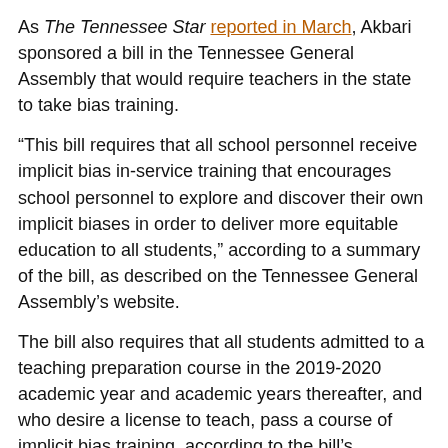As The Tennessee Star reported in March, Akbari sponsored a bill in the Tennessee General Assembly that would require teachers in the state to take bias training.
“This bill requires that all school personnel receive implicit bias in-service training that encourages school personnel to explore and discover their own implicit biases in order to deliver more equitable education to all students,” according to a summary of the bill, as described on the Tennessee General Assembly’s website.
The bill also requires that all students admitted to a teaching preparation course in the 2019-2020 academic year and academic years thereafter, and who desire a license to teach, pass a course of implicit bias training, according to the bill’s summary.
As The Star reported last year, Akbari also planned to sponsor legislation that could automatically help restore the right to